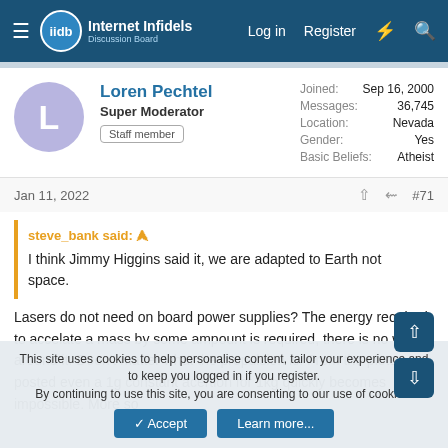Internet Infidels Discussion Board — Log in  Register
Loren Pechtel
Super Moderator
Staff member
Joined: Sep 16, 2000
Messages: 36,745
Location: Nevada
Gender: Yes
Basic Beliefs: Atheist
Jan 11, 2022  #71
steve_bank said:
I think Jimmy Higgins said it, we are adapted to Earth not space.

Lasers do not need on board power supplies? The energy required to accelate a mass by some ampount is required, there is no way around it. Doen't matter what the propulsion is. From the plots I posted even a 1g constant acertion for 1kg quickly becomes impossible. More so
This site uses cookies to help personalise content, tailor your experience and to keep you logged in if you register.
By continuing to use this site, you are consenting to our use of cookies.